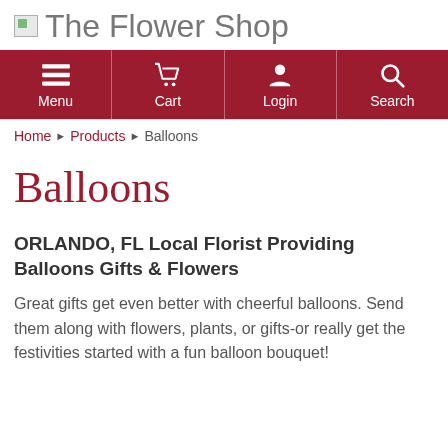The Flower Shop
[Figure (screenshot): Navigation bar with dark red background containing four items: Menu (hamburger icon), Cart (cart icon), Login (person icon), Search (magnifying glass icon)]
Home ▸ Products ▸ Balloons
Balloons
ORLANDO, FL Local Florist Providing Balloons Gifts & Flowers
Great gifts get even better with cheerful balloons. Send them along with flowers, plants, or gifts-or really get the festivities started with a fun balloon bouquet!